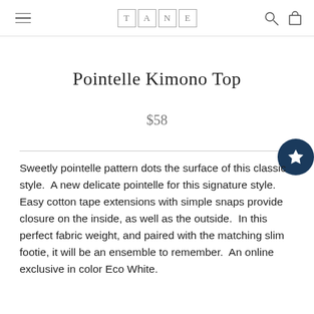TANE
Pointelle Kimono Top
$58
Sweetly pointelle pattern dots the surface of this classic style.  A new delicate pointelle for this signature style.  Easy cotton tape extensions with simple snaps provide closure on the inside, as well as the outside.  In this perfect fabric weight, and paired with the matching slim footie, it will be an ensemble to remember.  An online exclusive in color Eco White.